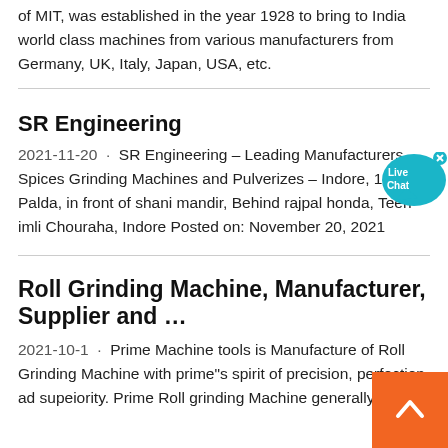of MIT, was established in the year 1928 to bring to India world class machines from various manufacturers from Germany, UK, Italy, Japan, USA, etc.
SR Engineering
2021-11-20 · SR Engineering – Leading Manufacturers Spices Grinding Machines and Pulverizes – Indore, 108 Palda, in front of shani mandir, Behind rajpal honda, Teen imli Chouraha, Indore Posted on: November 20, 2021
Roll Grinding Machine, Manufacturer, Supplier and …
2021-10-1 · Prime Machine tools is Manufacture of Roll Grinding Machine with prime"s spirit of precision, perfection ad supeiority. Prime Roll grinding Machine generally meant